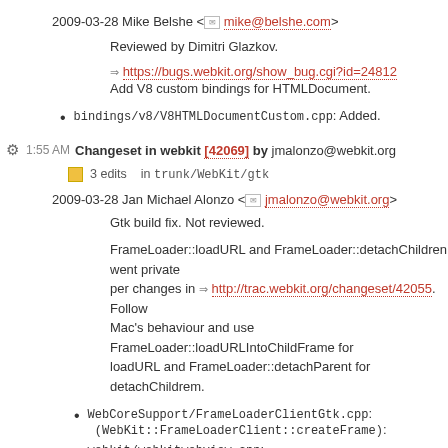2009-03-28 Mike Belshe <mike@belshe.com>
Reviewed by Dimitri Glazkov.
=> https://bugs.webkit.org/show_bug.cgi?id=24812
Add V8 custom bindings for HTMLDocument.
bindings/v8/V8HTMLDocumentCustom.cpp: Added.
1:55 AM Changeset in webkit [42069] by jmalonzo@webkit.org
3 edits  in trunk/WebKit/gtk
2009-03-28 Jan Michael Alonzo <jmalonzo@webkit.org>
Gtk build fix. Not reviewed.
FrameLoader::loadURL and FrameLoader::detachChildren went private per changes in => http://trac.webkit.org/changeset/42055. Follow Mac's behaviour and use FrameLoader::loadURLIntoChildFrame for loadURL and FrameLoader::detachParent for detachChildrem.
WebCoreSupport/FrameLoaderClientGtk.cpp: (WebKit::FrameLoaderClient::createFrame):
webkit/webkitwebview.cpp: